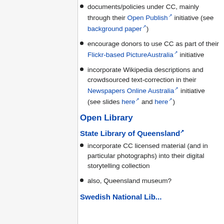documents/policies under CC, mainly through their Open Publish initiative (see background paper)
encourage donors to use CC as part of their Flickr-based PictureAustralia initiative
incorporate Wikipedia descriptions and crowdsourced text-correction in their Newspapers Online Australia initiative (see slides here and here)
Open Library
State Library of Queensland
incorporate CC licensed material (and in particular photographs) into their digital storytelling collection
also, Queensland museum?
Swedish National Lib...